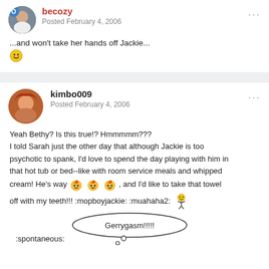becozy
Posted February 4, 2006
...and won't take her hands off Jackie...
:)
kimbo009
Posted February 4, 2006
Yeah Bethy? Is this true!? Hmmmmm???
I told Sarah just the other day that although Jackie is too psychotic to spank, I'd love to spend the day playing with him in that hot tub or bed--like with room service meals and whipped cream! He's way [emojis], and I'd like to take that towel off with my teeth!!! :mopboyjackie: :muahaha2: [emoji]
:spontaneous: Gerrygasm!!!!!